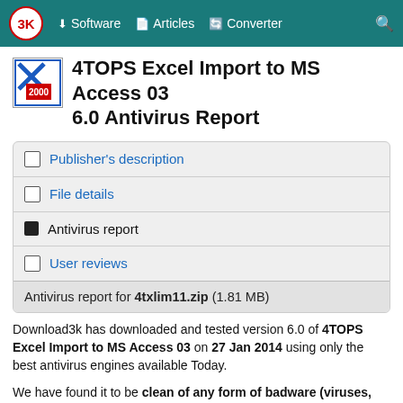3K | Software | Articles | Converter | Search
4TOPS Excel Import to MS Access 03 6.0 Antivirus Report
Publisher's description
File details
Antivirus report
User reviews
Antivirus report for 4txlim11.zip (1.81 MB)
Download3k has downloaded and tested version 6.0 of 4TOPS Excel Import to MS Access 03 on 27 Jan 2014 using only the best antivirus engines available Today.
We have found it to be clean of any form of badware (viruses, spyware, adware, etc.). You can view the full scan logs below.
We will test 4TOPS Excel Import to MS Access 03 again on the